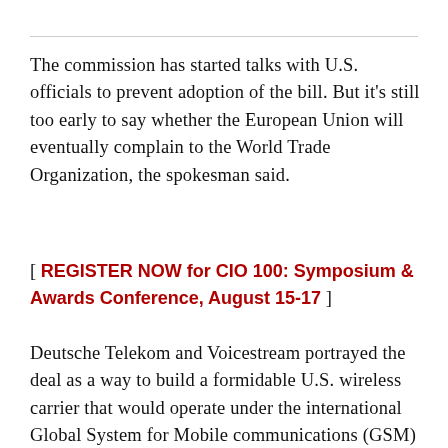The commission has started talks with U.S. officials to prevent adoption of the bill. But it's still too early to say whether the European Union will eventually complain to the World Trade Organization, the spokesman said.
[ REGISTER NOW for CIO 100: Symposium & Awards Conference, August 15-17 ]
Deutsche Telekom and Voicestream portrayed the deal as a way to build a formidable U.S. wireless carrier that would operate under the international Global System for Mobile communications (GSM) standard.